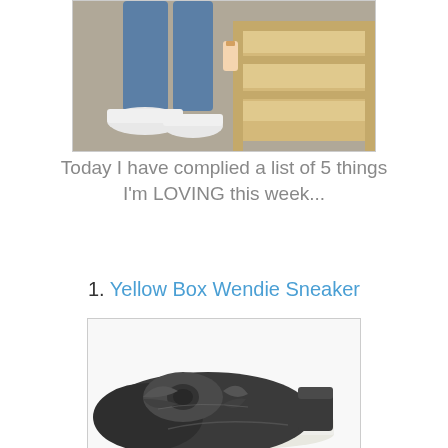[Figure (photo): Person sitting on wooden steps/crates wearing blue jeans and white sneakers, holding/touching a wooden box structure]
Today I have complied a list of 5 things I'm LOVING this week...
1. Yellow Box Wendie Sneaker
[Figure (photo): Black metallic slip-on sneaker with knotted bow detail on the toe, white sole — Yellow Box Wendie Sneaker]